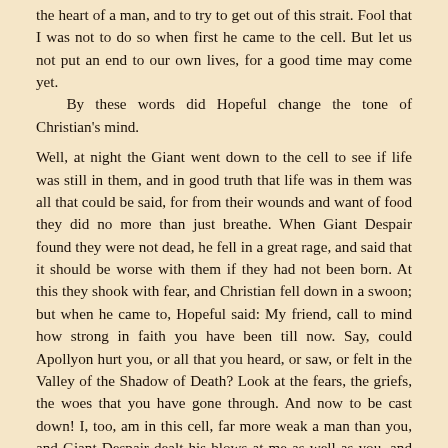the heart of a man, and to try to get out of this strait. Fool that I was not to do so when first he came to the cell. But let us not put an end to our own lives, for a good time may come yet.
	By these words did Hopeful change the tone of Christian's mind.

Well, at night the Giant went down to the cell to see if life was still in them, and in good truth that life was in them was all that could be said, for from their wounds and want of food they did no more than just breathe. When Giant Despair found they were not dead, he fell in a great rage, and said that it should be worse with them if they had not been born. At this they shook with fear, and Christian fell down in a swoon; but when he came to, Hopeful said: My friend, call to mind how strong in faith you have been till now. Say, could Apollyon hurt you, or all that you heard, or saw, or felt in the Valley of the Shadow of Death? Look at the fears, the griefs, the woes that you have gone through. And now to be cast down! I, too, am in this cell, far more weak a man than you, and Giant Despair dealt his blows at me as well as you, and keeps me from food and light. Let us both (if but to shun the shame) bear up as well as we can.
	When night came on, the wife of Giant Despair said to him: Well, will the two men yield?
	To which he said: No; they choose to stand firm, and will